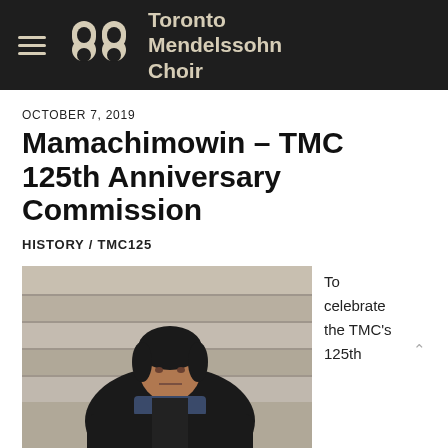Toronto Mendelssohn Choir
OCTOBER 7, 2019
Mamachimowin – TMC 125th Anniversary Commission
HISTORY / TMC125
[Figure (photo): Person with dark hair wearing a black leather jacket and blue scarf with a red patch, seated on stone steps outdoors.]
To celebrate the TMC's 125th